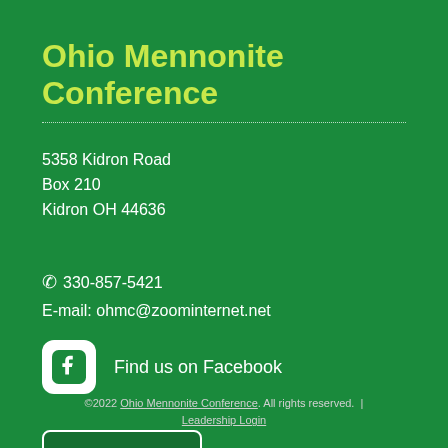Ohio Mennonite Conference
5358 Kidron Road
Box 210
Kidron OH 44636
☎ 330-857-5421
E-mail: ohmc@zoominternet.net
Find us on Facebook
DONATE »
©2022 Ohio Mennonite Conference. All rights reserved. | Leadership Login